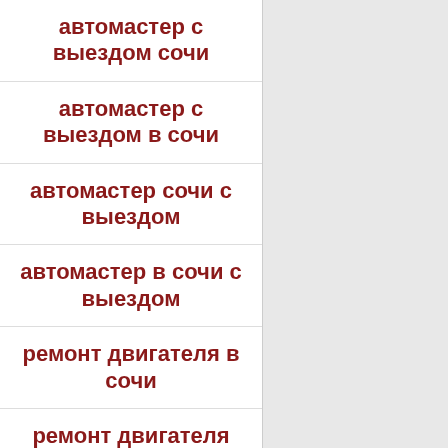автомастер с выездом сочи
автомастер с выездом в сочи
автомастер сочи с выездом
автомастер в сочи с выездом
ремонт двигателя в сочи
ремонт двигателя